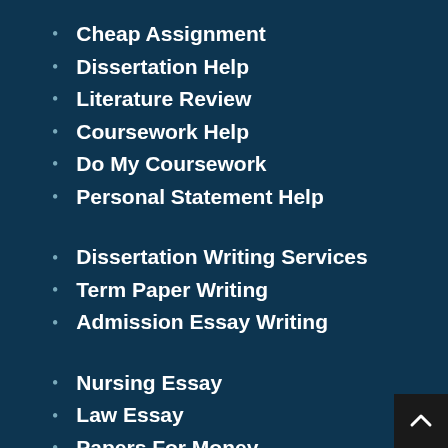Cheap Assignment
Dissertation Help
Literature Review
Coursework Help
Do My Coursework
Personal Statement Help
Dissertation Writing Services
Term Paper Writing
Admission Essay Writing
Nursing Essay
Law Essay
Papers For Money
Write My Dissertation
Order Essay